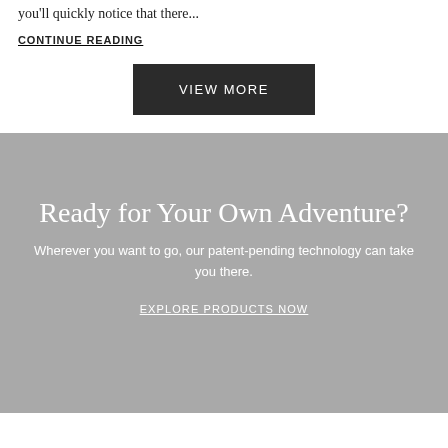you'll quickly notice that there...
CONTINUE READING
VIEW MORE
Ready for Your Own Adventure?
Wherever you want to go, our patent-pending technology can take you there.
EXPLORE PRODUCTS NOW